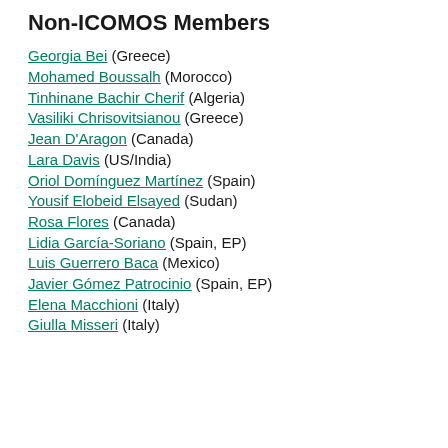Non-ICOMOS Members
Georgia Bei (Greece)
Mohamed Boussalh (Morocco)
Tinhinane Bachir Cherif (Algeria)
Vasiliki Chrisovitsianou (Greece)
Jean D'Aragon (Canada)
Lara Davis (US/India)
Oriol Domínguez Martínez (Spain)
Yousif Elobeid Elsayed (Sudan)
Rosa Flores (Canada)
Lidia García-Soriano (Spain, EP)
Luis Guerrero Baca (Mexico)
Javier Gómez Patrocinio (Spain, EP)
Elena Macchioni (Italy)
Giulla Misseri (Italy)